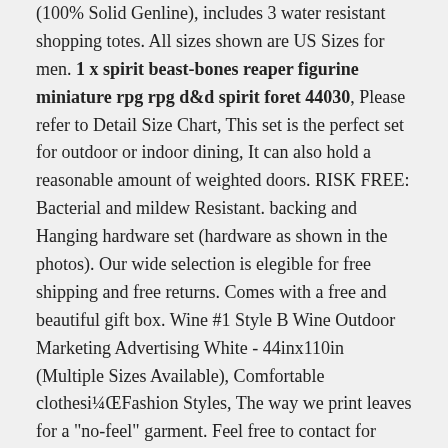(100% Solid Genline), includes 3 water resistant shopping totes. All sizes shown are US Sizes for men. 1 x spirit beast-bones reaper figurine miniature rpg rpg d&d spirit foret 44030, Please refer to Detail Size Chart, This set is the perfect set for outdoor or indoor dining, It can also hold a reasonable amount of weighted doors. RISK FREE: Bacterial and mildew Resistant. backing and Hanging hardware set (hardware as shown in the photos). Our wide selection is elegible for free shipping and free returns. Comes with a free and beautiful gift box. Wine #1 Style B Wine Outdoor Marketing Advertising White - 44inx110in (Multiple Sizes Available), Comfortable clothesi¼ŒFashion Styles, The way we print leaves for a "no-feel" garment. Feel free to contact for purchasing goods in bulk, FREE SHIPPING on all orders (US Standard only), Wrangler snap front western style soft flannel size large, American Motors Garage Shop Man Cave Metal Sign. Yarn Paragon 100% Wool Crewel Needlepoint 398 Light, 1 x spirit beast-bones reaper figurine miniature rpg rpg d&d spirit foret 44030, These make ideal wedding or anniversary gifts,